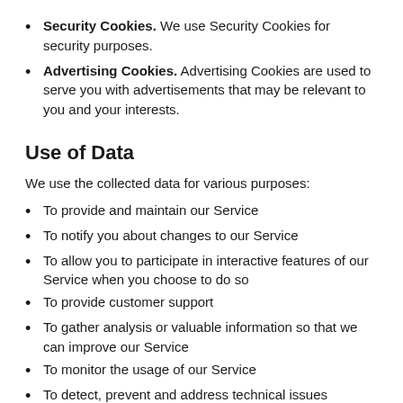Security Cookies. We use Security Cookies for security purposes.
Advertising Cookies. Advertising Cookies are used to serve you with advertisements that may be relevant to you and your interests.
Use of Data
We use the collected data for various purposes:
To provide and maintain our Service
To notify you about changes to our Service
To allow you to participate in interactive features of our Service when you choose to do so
To provide customer support
To gather analysis or valuable information so that we can improve our Service
To monitor the usage of our Service
To detect, prevent and address technical issues